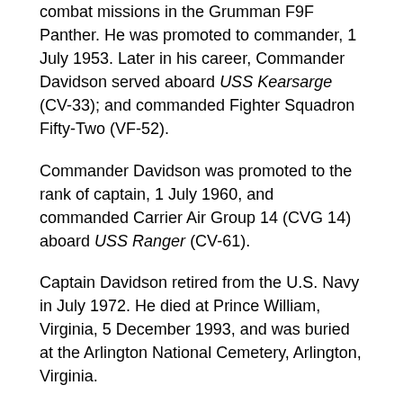combat missions in the Grumman F9F Panther. He was promoted to commander, 1 July 1953. Later in his career, Commander Davidson served aboard USS Kearsarge (CV-33); and commanded Fighter Squadron Fifty-Two (VF-52).
Commander Davidson was promoted to the rank of captain, 1 July 1960, and commanded Carrier Air Group 14 (CVG 14) aboard USS Ranger (CV-61).
Captain Davidson retired from the U.S. Navy in July 1972. He died at Prince William, Virginia, 5 December 1993, and was buried at the Arlington National Cemetery, Arlington, Virginia.
1 The very first jet landings and takeoffs had occurred over seven months earlier, 3 December 1945, when Lieutenant-Commander Eric Melrose Brown, D.S.C., Royal Navy Volunteer Reserve, flying a de Haviulland DH.100 Vampire, and he was able to takeoff and landing onboard the Royal N...